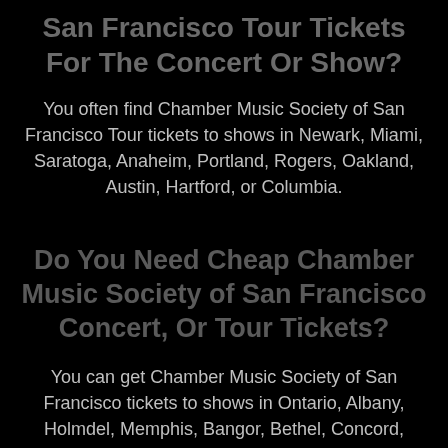San Francisco Tour Tickets For The Concert Or Show?
You often find Chamber Music Society of San Francisco Tour tickets to shows in Newark, Miami, Saratoga, Anaheim, Portland, Rogers, Oakland, Austin, Hartford, or Columbia.
Do You Need Cheap Chamber Music Society of San Francisco Concert, Or Tour Tickets?
You can get Chamber Music Society of San Francisco tickets to shows in Ontario, Albany, Holmdel, Memphis, Bangor, Bethel, Concord, Fresno, Atlanta, Greensboro, shows from us.